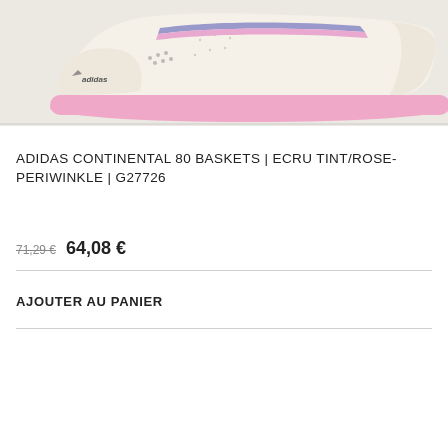[Figure (photo): Side view of an Adidas Continental 80 sneaker in ecru/cream color with pink sole and blue/pink stripe detail on the upper. The Adidas logo is visible on the side.]
ADIDAS CONTINENTAL 80 BASKETS | ECRU TINT/ROSE-PERIWINKLE | G27726
71,29 €   64,08 €
AJOUTER AU PANIER